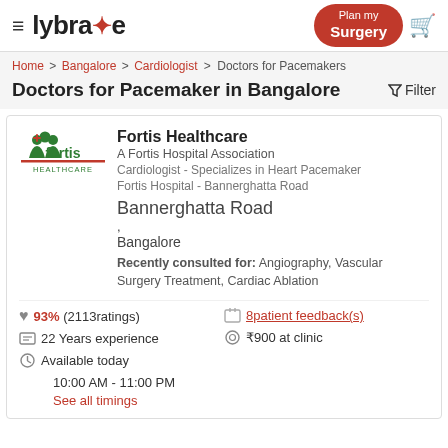lybrate — Plan my Surgery
Home > Bangalore > Cardiologist > Doctors for Pacemakers
Doctors for Pacemaker in Bangalore
[Figure (logo): Fortis Healthcare logo with green people icons and red underline]
Fortis Healthcare
A Fortis Hospital Association
Cardiologist - Specializes in Heart Pacemaker
Fortis Hospital - Bannerghatta Road
Bannerghatta Road
,
Bangalore
Recently consulted for: Angiography, Vascular Surgery Treatment, Cardiac Ablation
93% (2113ratings)
8patient feedback(s)
22 Years experience
₹900 at clinic
Available today
10:00 AM - 11:00 PM
See all timings